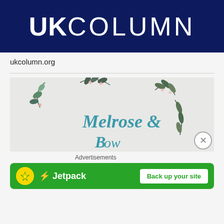[Figure (logo): UK Column logo — dark navy blue background with white text reading UKCOLUMN]
ukcolumn.org
[Figure (photo): Partial view of a decorative floral wreath illustration with teal cursive text reading 'Melrose &' and partial text below, on a light gray background]
Advertisements
[Figure (screenshot): Jetpack advertisement banner — green background with Jetpack logo (lightning bolt icon) and button reading 'Back up your site']